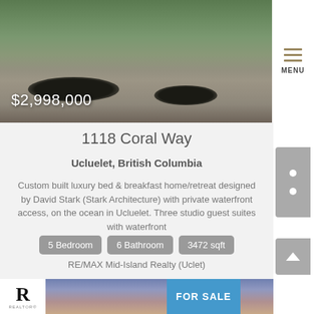[Figure (photo): Exterior photo of a custom built luxury home with landscaping, dark mulch beds, and blue accents]
$2,998,000
1118 Coral Way
Ucluelet, British Columbia
Custom built luxury bed & breakfast home/retreat designed by David Stark (Stark Architecture) with private waterfront access, on the ocean in Ucluelet. Three studio guest suites with waterfront
5 Bedroom   6 Bathroom   3472 sqft
RE/MAX Mid-Island Realty (Uclet)
[Figure (photo): Sunset sky photo with Realtor logo and FOR SALE badge]